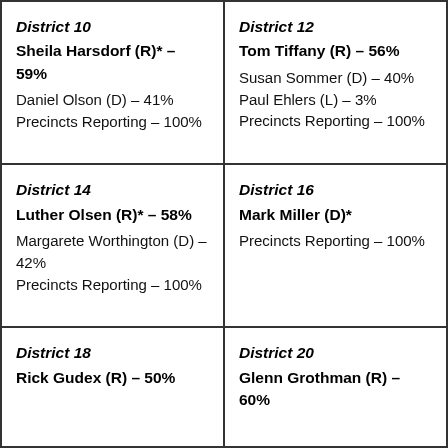| District 10
Sheila Harsdorf (R)* – 59%
Daniel Olson (D) – 41%
Precincts Reporting – 100% | District 12
Tom Tiffany (R) – 56%
Susan Sommer (D) – 40%
Paul Ehlers (L) – 3%
Precincts Reporting – 100% |
| District 14
Luther Olsen (R)* – 58%
Margarete Worthington (D) – 42%
Precincts Reporting – 100% | District 16
Mark Miller (D)*
Precincts Reporting – 100% |
| District 18
Rick Gudex (R) – 50% | District 20
Glenn Grothman (R) – 60% |